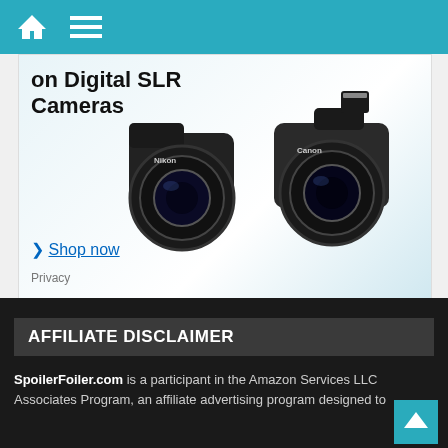Navigation bar with home icon and menu icon
[Figure (photo): Amazon advertisement for Digital SLR Cameras showing a Nikon DSLR and a Canon DSLR camera side by side, with text 'on Digital SLR Cameras', a 'Shop now' link, and a 'Privacy' label at the bottom.]
AFFILIATE DISCLAIMER
SpoilerFoiler.com is a participant in the Amazon Services LLC Associates Program, an affiliate advertising program designed to provide a means for sites to earn advertising fees by advertising and linking to Amazon.com